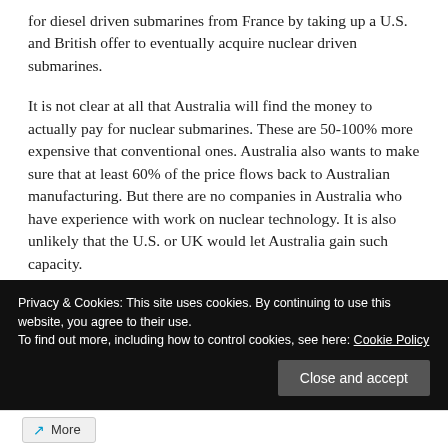for diesel driven submarines from France by taking up a U.S. and British offer to eventually acquire nuclear driven submarines.
It is not clear at all that Australia will find the money to actually pay for nuclear submarines. These are 50-100% more expensive that conventional ones. Australia also wants to make sure that at least 60% of the price flows back to Australian manufacturing. But there are no companies in Australia who have experience with work on nuclear technology. It is also unlikely that the U.S. or UK would let Australia gain such capacity.
Continue reading...
Privacy & Cookies: This site uses cookies. By continuing to use this website, you agree to their use.
To find out more, including how to control cookies, see here: Cookie Policy
Close and accept
More